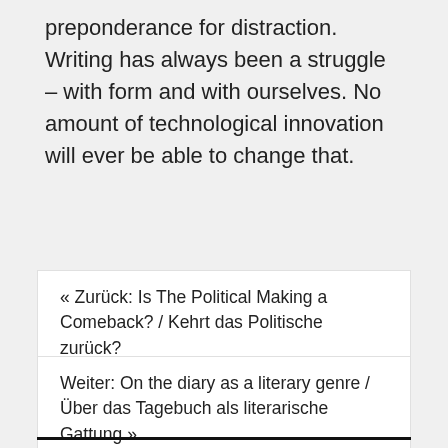preponderance for distraction. Writing has always been a struggle – with form and with ourselves. No amount of technological innovation will ever be able to change that.
« Zurück: Is The Political Making a Comeback? / Kehrt das Politische zurück?
Weiter: On the diary as a literary genre / Über das Tagebuch als literarische Gattung »